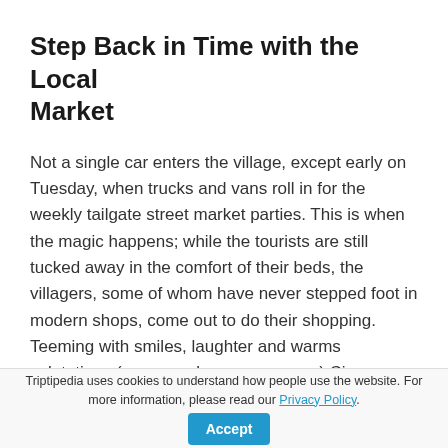Step Back in Time with the Local Market
Not a single car enters the village, except early on Tuesday, when trucks and vans roll in for the weekly tailgate street market parties. This is when the magic happens; while the tourists are still tucked away in the comfort of their beds, the villagers, some of whom have never stepped foot in modern shops, come out to do their shopping. Teeming with smiles, laughter and warms salutations (everyone knows everyone) Cinque Terre's family lead community comes alive. This is most clear by how the stalls are all still family-run
Triptipedia uses cookies to understand how people use the website. For more information, please read our Privacy Policy. [Accept]